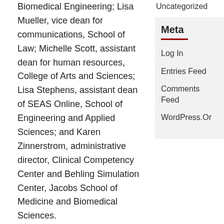Biomedical Engineering; Lisa Mueller, vice dean for communications, School of Law; Michelle Scott, assistant dean for human resources, College of Arts and Sciences; Lisa Stephens, assistant dean of SEAS Online, School of Engineering and Applied Sciences; and Karen Zinnerstrom, administrative director, Clinical Competency Center and Behling Simulation Center, Jacobs School of Medicine and Biomedical Sciences.
Uncategorized
Meta
Log In
Entries Feed
Comments Feed
WordPress.Org